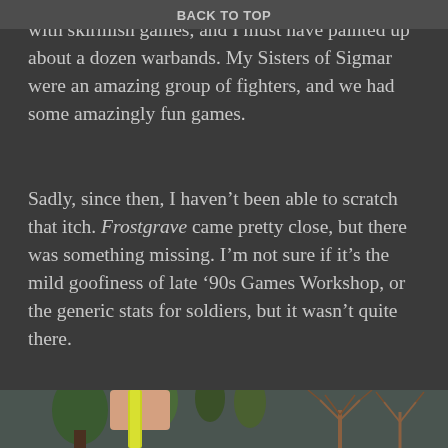BACK TO TOP
with skirmish games, and I must have painted up about a dozen warbands. My Sisters of Sigmar were an amazing group of fighters, and we had some amazingly fun games.
Sadly, since then, I haven’t been able to scratch that itch. Frostgrave came pretty close, but there was something missing. I’m not sure if it’s the mild goofiness of late ’90s Games Workshop, or the generic stats for soldiers, but it wasn’t quite there.
[Figure (photo): A hand holding a yellow measuring tape over a tabletop miniature wargaming setup, featuring model trees (green conifers and bare brown branching trees) and grey terrain pieces in the background.]